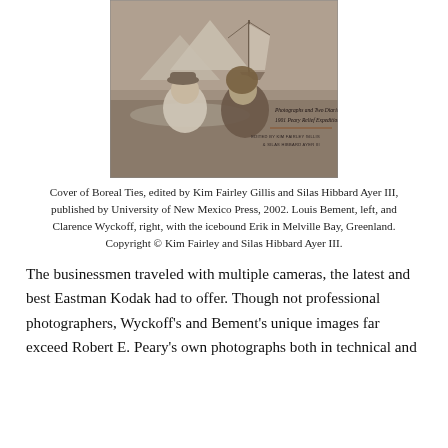[Figure (photo): Sepia-toned book cover of 'Boreal Ties' showing two men in cold-weather gear in front of an icebound ship in Melville Bay, Greenland. Text on the cover reads 'Photographs and Two Diaries of the 1901 Peary Relief Expedition', edited by Kim Fairley Gillis & Silas Hibbard Ayer III.]
Cover of Boreal Ties, edited by Kim Fairley Gillis and Silas Hibbard Ayer III, published by University of New Mexico Press, 2002. Louis Bement, left, and Clarence Wyckoff, right, with the icebound Erik in Melville Bay, Greenland. Copyright © Kim Fairley and Silas Hibbard Ayer III.
The businessmen traveled with multiple cameras, the latest and best Eastman Kodak had to offer. Though not professional photographers, Wyckoff's and Bement's unique images far exceed Robert E. Peary's own photographs both in technical and